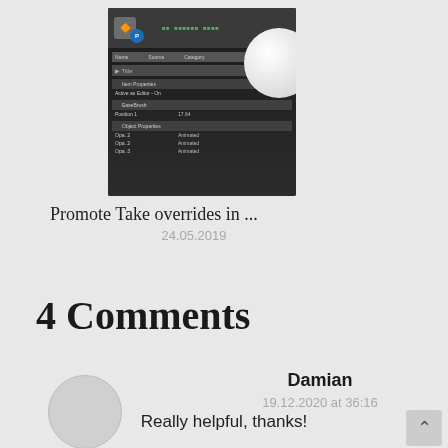[Figure (screenshot): Screenshot of a 3D software interface showing a node/property panel with a white ball object, dark UI theme with green text and table rows]
Promote Take overrides in ...
24.05.2019
4 Comments
Damian
19.12.2020 at 36:16
Really helpful, thanks!